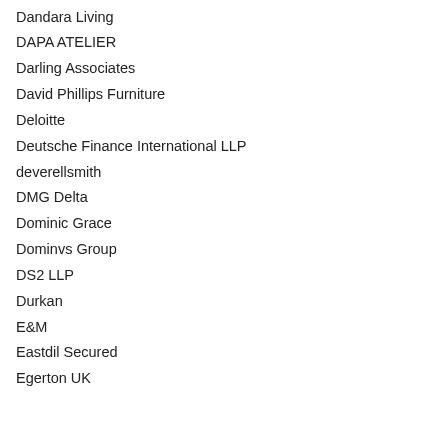Dandara Living
DAPA ATELIER
Darling Associates
David Phillips Furniture
Deloitte
Deutsche Finance International LLP
deverellsmith
DMG Delta
Dominic Grace
Dominvs Group
DS2 LLP
Durkan
E&M
Eastdil Secured
Egerton UK